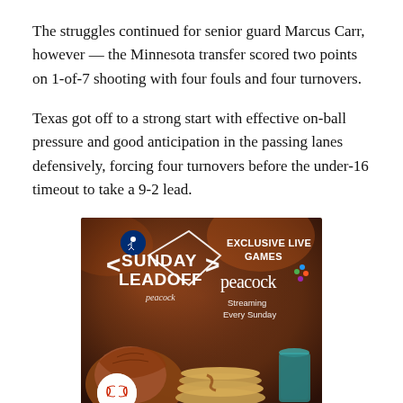The struggles continued for senior guard Marcus Carr, however — the Minnesota transfer scored two points on 1-of-7 shooting with four fouls and four turnovers.
Texas got off to a strong start with effective on-ball pressure and good anticipation in the passing lanes defensively, forcing four turnovers before the under-16 timeout to take a 9-2 lead.
[Figure (advertisement): MLB Sunday Leadoff on Peacock advertisement. Features a warm brown background with a baseball glove, baseball, and pancakes. Left side shows MLB logo and 'SUNDAY LEADOFF' with arrow brackets and 'peacock' text below. Right side shows 'EXCLUSIVE LIVE GAMES' in bold white text, Peacock logo/text, and 'Streaming Every Sunday' in white text.]